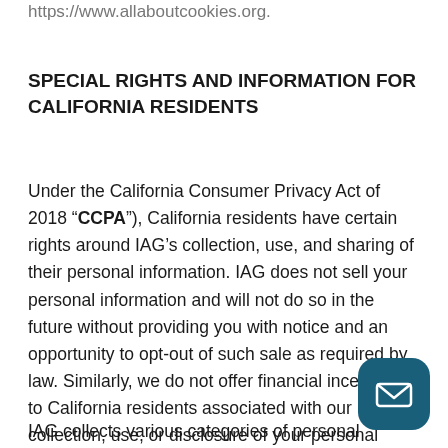https://www.allaboutcookies.org.
SPECIAL RIGHTS AND INFORMATION FOR CALIFORNIA RESIDENTS
Under the California Consumer Privacy Act of 2018 (“CCPA”), California residents have certain rights around IAG’s collection, use, and sharing of their personal information. IAG does not sell your personal information and will not do so in the future without providing you with notice and an opportunity to opt-out of such sale as required by law. Similarly, we do not offer financial incentives to California residents associated with our collection, use, or disclosure of your personal information.
IAG collects various categories of personal